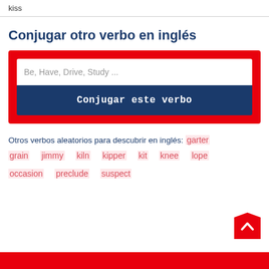kiss
Conjugar otro verbo en inglés
[Figure (screenshot): Red-bordered search box with text input placeholder 'Be, Have, Drive, Study ...' and a dark blue button labeled 'Conjugar este verbo']
Otros verbos aleatorios para descubrir en inglés: garter grain jimmy kiln kipper kit knee lope occasion preclude suspect